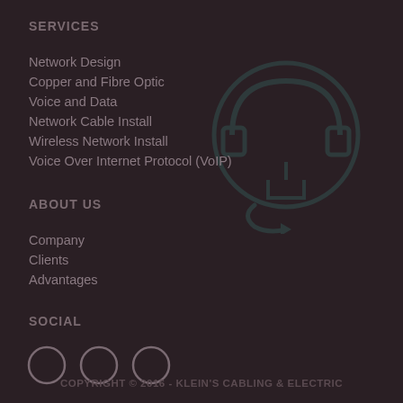SERVICES
Network Design
Copper and Fibre Optic
Voice and Data
Network Cable Install
Wireless Network Install
Voice Over Internet Protocol (VoIP)
ABOUT US
Company
Clients
Advantages
SOCIAL
[Figure (illustration): Three social media icon circles (outlines only)]
[Figure (logo): Klein's Cabling & Electric watermark logo - circular headphone/plug icon in teal]
COPYRIGHT © 2016 - KLEIN'S CABLING & ELECTRIC